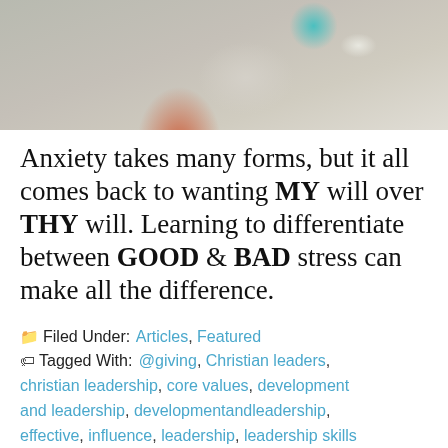[Figure (photo): Woman in red dress sitting at a desk with a laptop and items on the table, blurred background]
Anxiety takes many forms, but it all comes back to wanting MY will over THY will. Learning to differentiate between GOOD & BAD stress can make all the difference.
📁 Filed Under: Articles, Featured
🏷 Tagged With: @giving, Christian leaders, christian leadership, core values, development and leadership, developmentandleadership, effective, influence, leadership, leadership skills